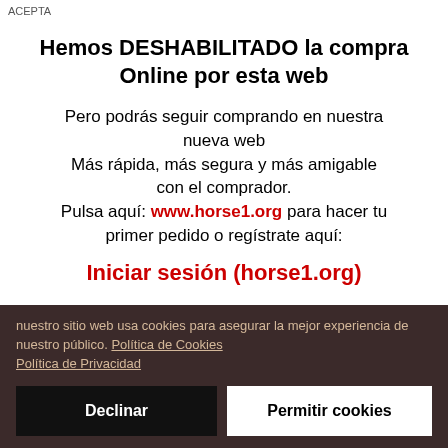Hemos DESHABILITADO la compra Online por esta web
Pero podrás seguir comprando en nuestra nueva web
Más rápida, más segura y más amigable con el comprador.
Pulsa aquí: www.horse1.org para hacer tu primer pedido o regístrate aquí:
Iniciar sesión (horse1.org)
nuestro sitio web usa cookies para asegurar la mejor experiencia de nuestro público. Política de Cookies Política de Privacidad
Declinar
Permitir cookies